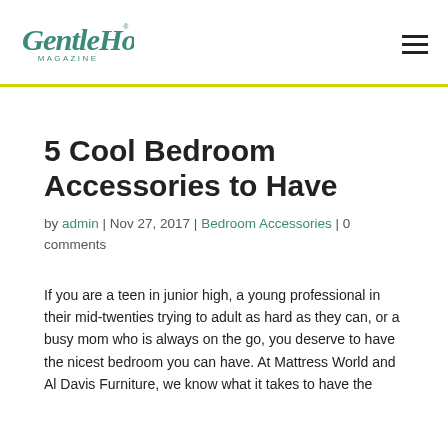GentleHome Magazine
5 Cool Bedroom Accessories to Have
by admin | Nov 27, 2017 | Bedroom Accessories | 0 comments
If you are a teen in junior high, a young professional in their mid-twenties trying to adult as hard as they can, or a busy mom who is always on the go, you deserve to have the nicest bedroom you can have. At Mattress World and Al Davis Furniture, we know what it takes to have the